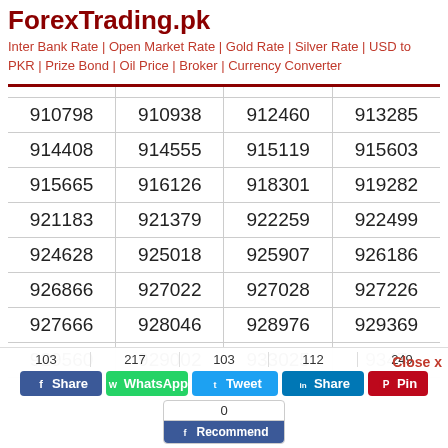ForexTrading.pk
Inter Bank Rate | Open Market Rate | Gold Rate | Silver Rate | USD to PKR | Prize Bond | Oil Price | Broker | Currency Converter
|  |  |  |  |
| --- | --- | --- | --- |
| 910798 | 910938 | 912460 | 913285 |
| 914408 | 914555 | 915119 | 915603 |
| 915665 | 916126 | 918301 | 919282 |
| 921183 | 921379 | 922259 | 922499 |
| 924628 | 925018 | 925907 | 926186 |
| 926866 | 927022 | 927028 | 927226 |
| 927666 | 928046 | 928976 | 929369 |
| 929560 | 929002 | 933025 | 9347... |